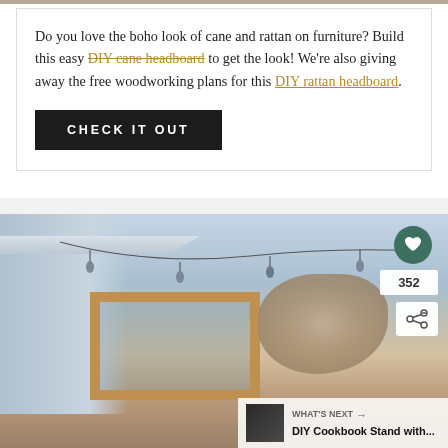[Figure (photo): Cropped top edge of a photo (partial view of people or scene)]
Do you love the boho look of cane and rattan on furniture? Build this easy DIY cane headboard to get the look! We're also giving away the free woodworking plans for this DIY rattan headboard.
CHECK IT OUT
[Figure (photo): Outdoor photo showing a wooden pergola frame with string lights hanging from a building, trees in background. Social media engagement buttons (heart, share) and a 'What's Next' recommendation overlay showing DIY Cookbook Stand.]